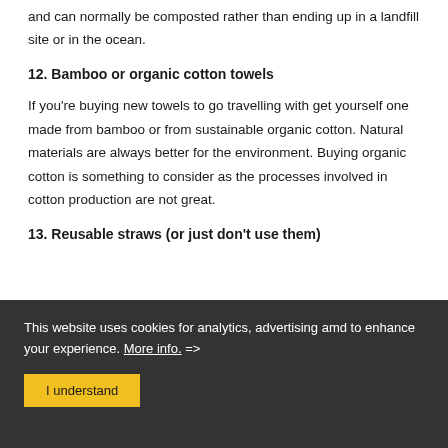and can normally be composted rather than ending up in a landfill site or in the ocean.
12. Bamboo or organic cotton towels
If you're buying new towels to go travelling with get yourself one made from bamboo or from sustainable organic cotton. Natural materials are always better for the environment. Buying organic cotton is something to consider as the processes involved in cotton production are not great.
13. Reusable straws (or just don't use them)
This website uses cookies for analytics, advertising amd to enhance your experience. More info. =>
I understand